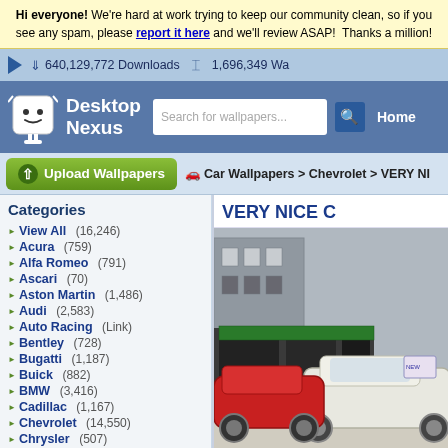Hi everyone! We're hard at work trying to keep our community clean, so if you see any spam, please report it here and we'll review ASAP! Thanks a million!
640,129,772 Downloads   1,696,349 Wa...
[Figure (logo): Desktop Nexus logo with robot mascot icon, search bar, and Home link]
Upload Wallpapers
Car Wallpapers > Chevrolet > VERY NI...
Categories
View All (16,246)
Acura (759)
Alfa Romeo (791)
Ascari (70)
Aston Martin (1,486)
Audi (2,583)
Auto Racing (Link)
Bentley (728)
Bugatti (1,187)
Buick (882)
BMW (3,416)
Cadillac (1,167)
Chevrolet (14,550)
Chrysler (507)
Citroen (481)
VERY NICE C...
[Figure (photo): Photo of classic white Chevrolet and red sports car parked on street in front of buildings]